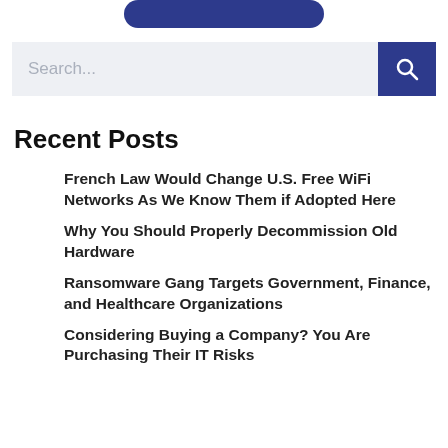[Figure (other): Partial blue rounded button at top of page]
[Figure (other): Search bar with light gray background and placeholder text 'Search...' with a dark blue search button on the right containing a magnifying glass icon]
Recent Posts
French Law Would Change U.S. Free WiFi Networks As We Know Them if Adopted Here
Why You Should Properly Decommission Old Hardware
Ransomware Gang Targets Government, Finance, and Healthcare Organizations
Considering Buying a Company? You Are Purchasing Their IT Risks